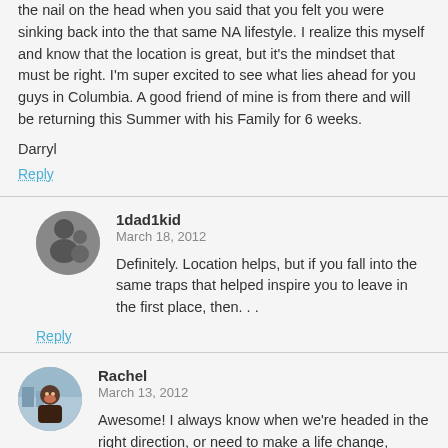the nail on the head when you said that you felt you were sinking back into the that same NA lifestyle.  I realize this myself and know that the location is great, but it's the mindset that must be right.  I'm super excited to see what lies ahead for you guys in Columbia.  A good friend of mine is from there and will be returning this Summer with his Family for 6 weeks.
Darryl
Reply
1dad1kid
March 18, 2012
Definitely. Location helps, but if you fall into the same traps that helped inspire you to leave in the first place, then. . .
Reply
Rachel
March 13, 2012
Awesome! I always know when we're headed in the right direction, or need to make a life change, because I start